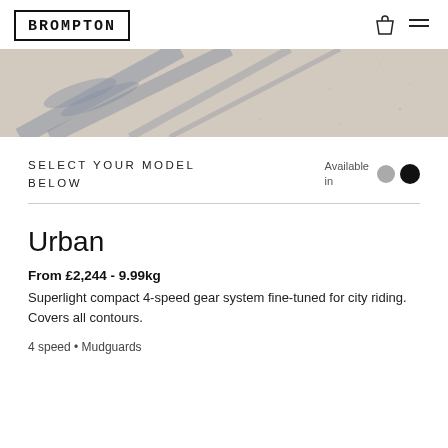BROMPTON
[Figure (photo): Aerial/ground-level photo showing shadows of a bicycle on a pale concrete ground surface.]
SELECT YOUR MODEL BELOW
Available in
Urban
From £2,244 - 9.99kg
Superlight compact 4-speed gear system fine-tuned for city riding. Covers all contours.
4 speed • Mudguards